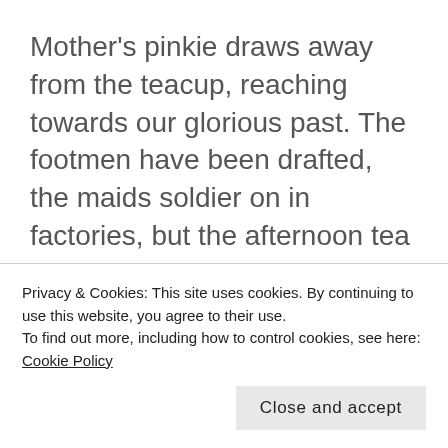Mother's pinkie draws away from the teacup, reaching towards our glorious past. The footmen have been drafted, the maids soldier on in factories, but the afternoon tea is holy in our house.
A thud, and the ceiling snows plaster flakes on our Persian carpet.
Bones rattling
Privacy & Cookies: This site uses cookies. By continuing to use this website, you agree to their use.
To find out more, including how to control cookies, see here: Cookie Policy
trembling windows. Beyond the only wall still